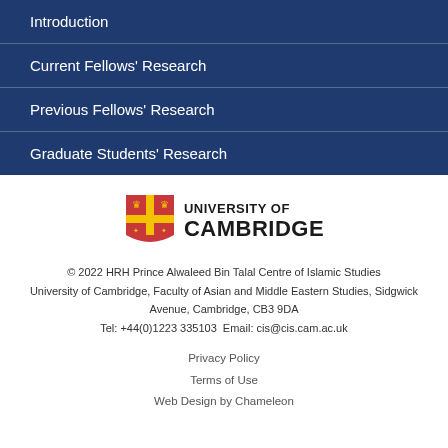Introduction
Current Fellows' Research
Previous Fellows' Research
Graduate Students' Research
[Figure (logo): University of Cambridge logo with heraldic shield and text 'UNIVERSITY OF CAMBRIDGE']
© 2022 HRH Prince Alwaleed Bin Talal Centre of Islamic Studies University of Cambridge, Faculty of Asian and Middle Eastern Studies, Sidgwick Avenue, Cambridge, CB3 9DA Tel: +44(0)1223 335103 Email: cis@cis.cam.ac.uk
Privacy Policy
Terms of Use
Web Design by Chameleon